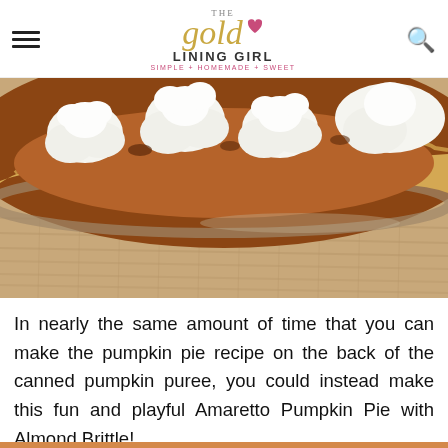THE gold LINING GIRL SIMPLE + HOMEMADE + SWEET
[Figure (photo): Close-up photo of a pumpkin pie in a glass pie dish with whipped cream rosettes on top, sitting on a burlap surface]
In nearly the same amount of time that you can make the pumpkin pie recipe on the back of the canned pumpkin puree, you could instead make this fun and playful Amaretto Pumpkin Pie with Almond Brittle!